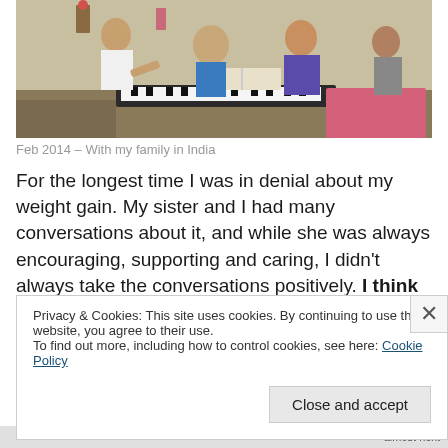[Figure (photo): Group photo of a family with a child in a blue t-shirt at a keyboard/piano, indoor setting, India]
Feb 2014 – With my family in India
For the longest time I was in denial about my weight gain. My sister and I had many conversations about it, and while she was always encouraging, supporting and caring, I didn't always take the conversations positively. I think this
Privacy & Cookies: This site uses cookies. By continuing to use this website, you agree to their use.
To find out more, including how to control cookies, see here: Cookie Policy
Close and accept